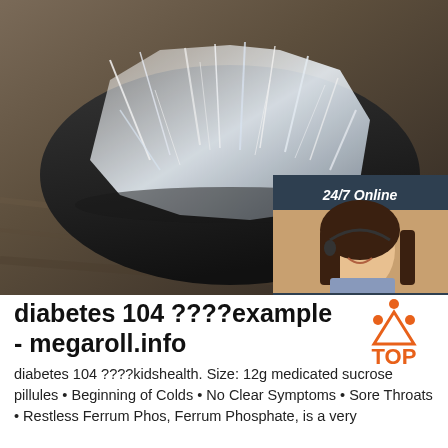[Figure (photo): Photo of white crystalline substance on a dark plate, on a wooden surface. Overlaid with an advertisement box showing '24/7 Online', a woman with headset, 'Click here for free chat!', and an orange 'QUOTATION' button.]
diabetes 104 ????example - megaroll.info
diabetes 104 ????kidshealth. Size: 12g medicated sucrose pillules • Beginning of Colds • No Clear Symptoms • Sore Throats • Restless Ferrum Phos, Ferrum Phosphate, is a very